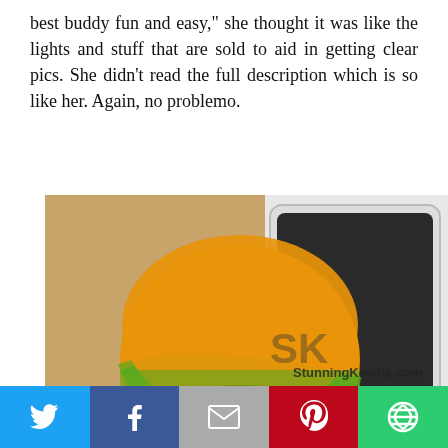best buddy fun and easy," she thought it was like the lights and stuff that are sold to aid in getting clear pics. She didn't read the full description which is so like her. Again, no problemo.
[Figure (photo): A tennis ball mounted on a clip/holder attached to the top edge of a tablet device (iPad). A cat is visible in the background. A watermark reads 'StunningKeisha.com' with a large SK logo.]
[Figure (infographic): Social sharing bar with five buttons: Twitter (blue bird icon), Facebook (blue f icon), Email (grey envelope icon), Pinterest (red P icon), and a green circular arrow icon.]